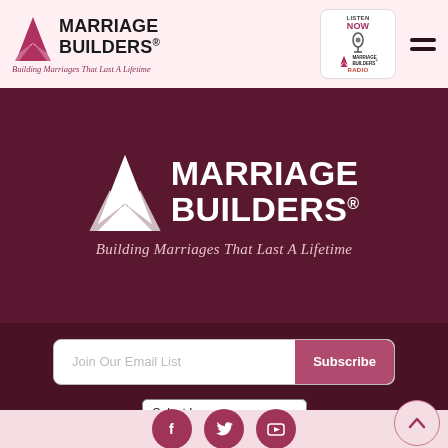[Figure (logo): Marriage Builders logo with red arrow/mountain icon and text 'Marriage Builders' plus tagline 'Building Marriages That Last A Lifetime']
[Figure (logo): Marriage Builders Radio badge with microphone icon, 'Listen Now' text, and 'Marriage Builders Radio' branding]
[Figure (logo): Large white Marriage Builders logo on dark maroon background with tagline 'Building Marriages That Last A Lifetime']
Join Our Email List
Subscribe
Select Language
[Figure (infographic): Social media icon buttons: Facebook, Twitter, YouTube on pink background. Back-to-top arrow button on right.]